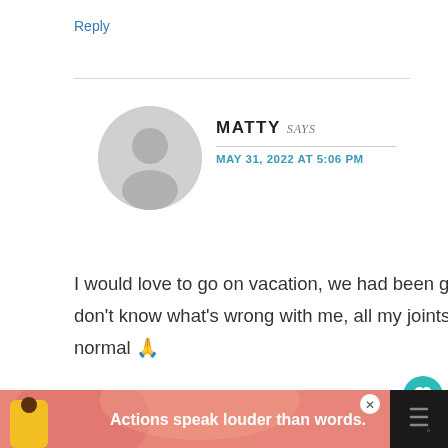Reply
MATTY says
MAY 31, 2022 AT 5:06 PM
I would love to go on vacation, we had been going through rough times as a family, I always so tired don't know what's wrong with me, all my joints hurt all day long, I just wish my family goes back to normal 🙏
[Figure (screenshot): Advertisement banner at bottom: person in yellow shirt, text 'Actions speak louder than words.' with close button]